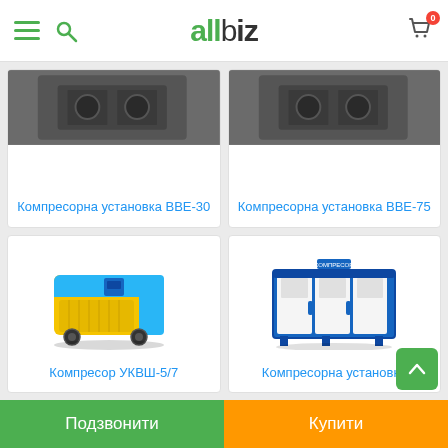allbiz
[Figure (screenshot): Product card top-left: Компресорна установка ВВЕ-30, partially cropped image of compressor unit]
[Figure (screenshot): Product card top-right: Компресорна установка ВВЕ-75, partially cropped image of compressor unit]
Компресорна установка ВВЕ-30
Компресорна установка ВВЕ-75
[Figure (photo): Yellow and blue screw compressor unit УКВШ-5/7]
[Figure (photo): White and blue compressor station/container unit]
Компресор УКВШ-5/7
Компресорна установка
Подзвонити | Купити